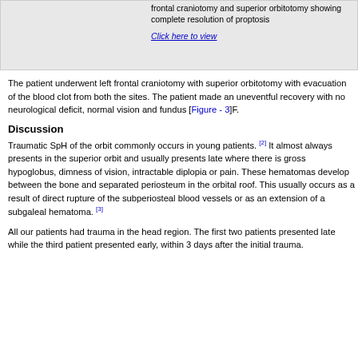frontal craniotomy and superior orbitotomy showing complete resolution of proptosis
Click here to view
The patient underwent left frontal craniotomy with superior orbitotomy with evacuation of the blood clot from both the sites. The patient made an uneventful recovery with no neurological deficit, normal vision and fundus [Figure - 3]F.
Discussion
Traumatic SpH of the orbit commonly occurs in young patients. [2] It almost always presents in the superior orbit and usually presents late where there is gross hypoglobus, dimness of vision, intractable diplopia or pain. These hematomas develop between the bone and separated periosteum in the orbital roof. This usually occurs as a result of direct rupture of the subperiosteal blood vessels or as an extension of a subgaleal hematoma. [3]
All our patients had trauma in the head region. The first two patients presented late while the third patient presented early, within 3 days after the initial trauma.